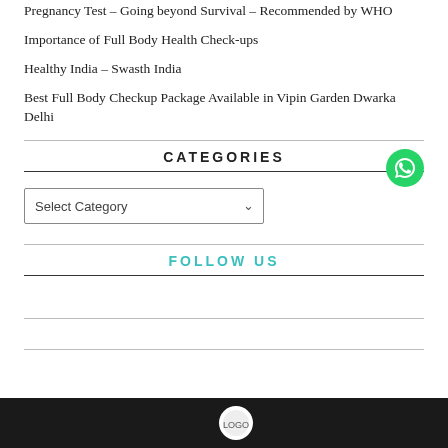Pregnancy Test – Going beyond Survival – Recommended by WHO
Importance of Full Body Health Check-ups
Healthy India – Swasth India
Best Full Body Checkup Package Available in Vipin Garden Dwarka Delhi
CATEGORIES
[Figure (other): WhatsApp contact button (green circle with phone icon)]
Select Category (dropdown)
FOLLOW US
[Figure (other): Dark banner/logo bar at bottom of page]